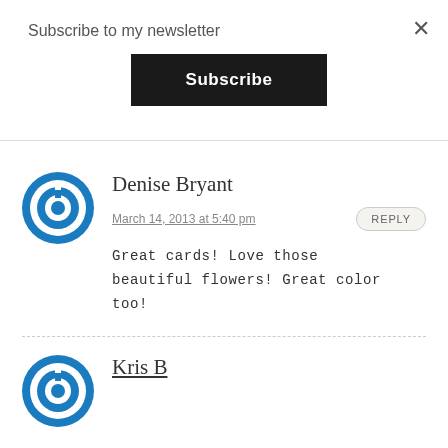Subscribe to my newsletter
Subscribe
Denise Bryant
March 14, 2013 at 5:40 pm
REPLY
Great cards! Love those beautiful flowers! Great color too!
[Figure (logo): Blue power button icon circle logo]
Kris B
[Figure (logo): Blue power button icon circle logo]